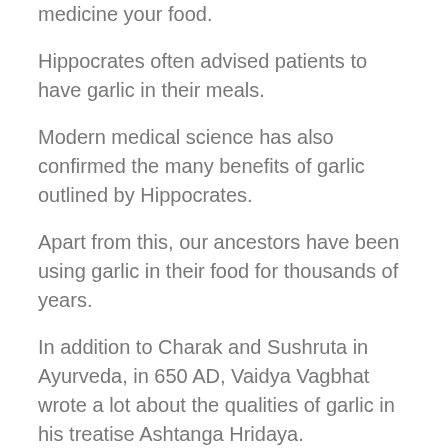medicine your food.
Hippocrates often advised patients to have garlic in their meals.
Modern medical science has also confirmed the many benefits of garlic outlined by Hippocrates.
Apart from this, our ancestors have been using garlic in their food for thousands of years.
In addition to Charak and Sushruta in Ayurveda, in 650 AD, Vaidya Vagbhat wrote a lot about the qualities of garlic in his treatise Ashtanga Hridaya.
In this article, we will tell you about 11 benefits of garlic accepted by medical science.
10 Amazing Anjeer Benefits